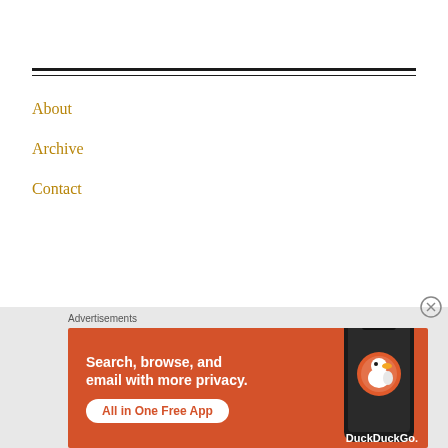About
Archive
Contact
Advertisements
[Figure (screenshot): DuckDuckGo advertisement banner with orange background. Text reads: 'Search, browse, and email with more privacy. All in One Free App'. Shows a smartphone with DuckDuckGo logo and branding.]